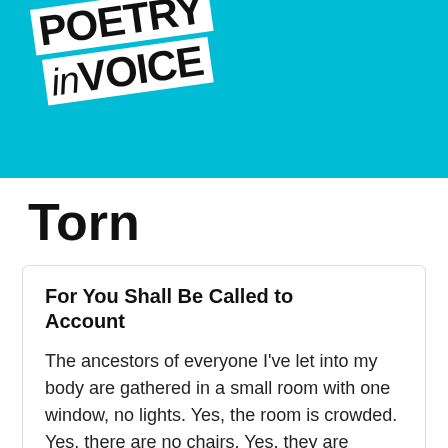[Figure (logo): Poetry In Voice logo on cyan/turquoise background. Two overlapping white rectangular banners rotated slightly, one reading 'POETRY' and one reading 'in VOICE' in bold black text.]
Torn
For You Shall Be Called to Account
The ancestors of everyone I've let into my body are gathered in a small room with one window, no lights. Yes, the room is crowded. Yes, there are no chairs. Yes, they are talking. Why are we here, says the Nazi resister. Where are the chairs,